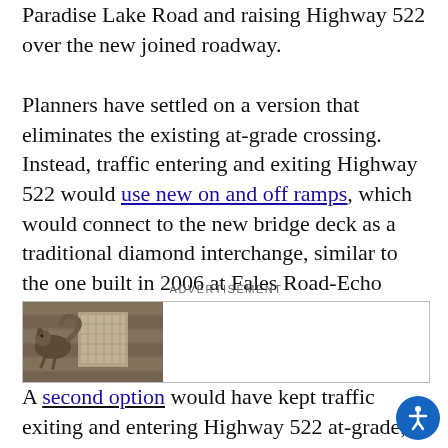Paradise Lake Road and raising Highway 522 over the new joined roadway.
Planners have settled on a version that eliminates the existing at-grade crossing. Instead, traffic entering and exiting Highway 522 would use new on and off ramps, which would connect to the new bridge deck as a traditional diamond interchange, similar to the one built in 2006 at Fales Road-Echo Lake Road.
[Figure (photo): Advertisement banner with image of a squirrel at a bird feeder on the left side and blank white space on the right.]
A second option would have kept traffic exiting and entering Highway 522 at-grade, while closing the intersection to cross traffic.